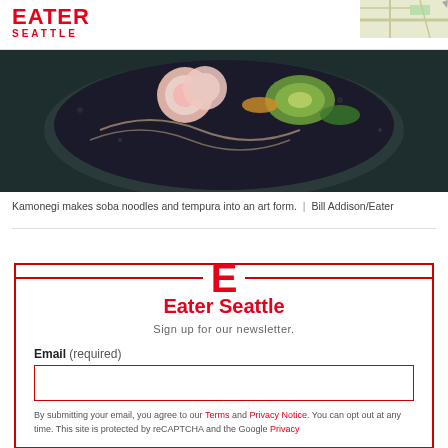EATER SEATTLE | MAP VIEW
[Figure (photo): Close-up of a Japanese dish in a dark blue speckled bowl with soba noodles, radish, avocado, and garnishes]
Kamonegi makes soba noodles and tempura into an art form. | Bill Addison/Eater
Eater Seattle
Sign up for our newsletter.
Email (required)
By submitting your email, you agree to our Terms and Privacy Notice. You can opt out at any time. This site is protected by reCAPTCHA and the Google Privacy